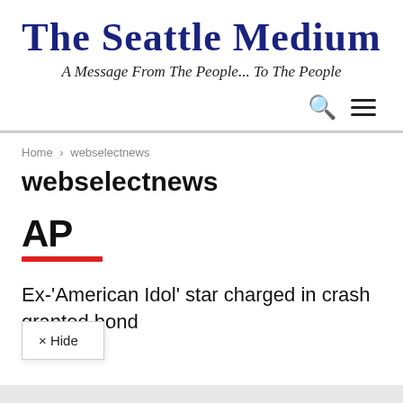The Seattle Medium
A Message From The People... To The People
Home › webselectnews
webselectnews
[Figure (logo): AP (Associated Press) logo — bold black letters AP with a red horizontal bar beneath]
Ex-'American Idol' star charged in crash granted bond
× Hide